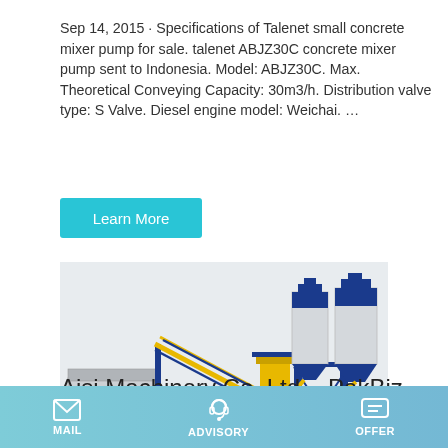Sep 14, 2015 · Specifications of Talenet small concrete mixer pump for sale. talenet ABJZ30C concrete mixer pump sent to Indonesia. Model: ABJZ30C. Max. Theoretical Conveying Capacity: 30m3/h. Distribution valve type: S Valve. Diesel engine model: Weichai. …
Learn More
[Figure (photo): Industrial concrete batching plant with blue steel frame structure, yellow conveyor belt and hopper, and two large white and blue cylindrical silos on the right.]
Aisi Machinery Co.,Ltd. - PakBiz
MAIL  ADVISORY  OFFER